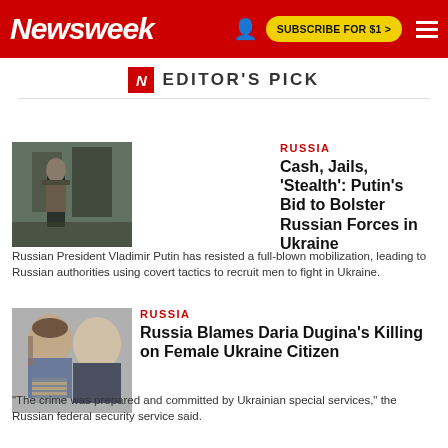Newsweek
EDITOR'S PICK
RUSSIA
Cash, Jails, 'Stealth': Putin's Bid to Bolster Russian Forces in Ukraine
Russian President Vladimir Putin has resisted a full-blown mobilization, leading to Russian authorities using covert tactics to recruit men to fight in Ukraine.
RUSSIA
Russia Blames Daria Dugina's Killing on Female Ukraine Citizen
"The crime was prepared and committed by Ukrainian special services," the Russian federal security service said.
LGBTQ RIGHTS
Homosexuality Is Still Illegal in These 67 U.N. Countries